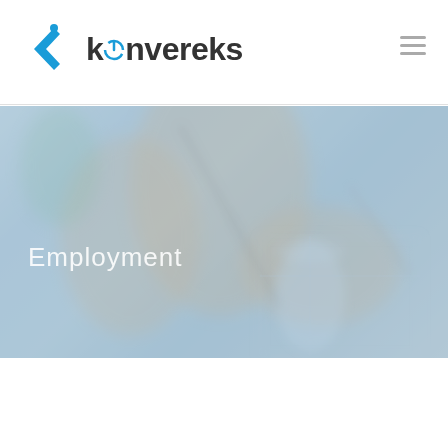[Figure (logo): Konvereks company logo with blue angular arrow/chevron icon and 'konvereks' wordmark]
[Figure (photo): Hero banner image showing hands holding tweezers/tools over lab/office setting, blurred blue-tinted background with 'Employment' text overlay]
Join our team